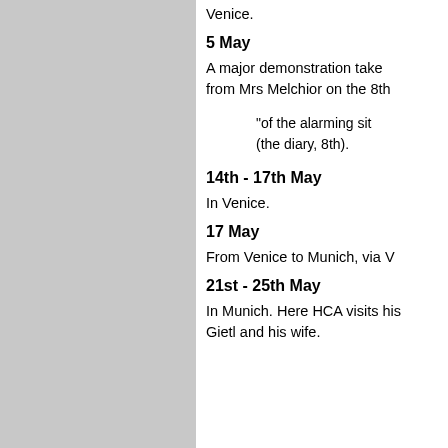Venice.
5 May
A major demonstration take from Mrs Melchior on the 8th
"of the alarming sit (the diary, 8th).
14th - 17th May
In Venice.
17 May
From Venice to Munich, via V
21st - 25th May
In Munich. Here HCA visits his Gietl and his wife.